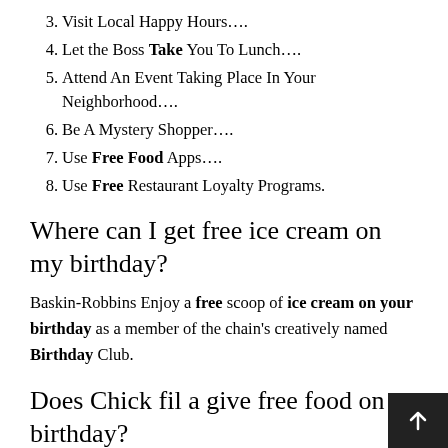3. Visit Local Happy Hours….
4. Let the Boss Take You To Lunch….
5. Attend An Event Taking Place In Your Neighborhood….
6. Be A Mystery Shopper….
7. Use Free Food Apps….
8. Use Free Restaurant Loyalty Programs.
Where can I get free ice cream on my birthday?
Baskin-Robbins Enjoy a free scoop of ice cream on your birthday as a member of the chain's creatively named Birthday Club.
Does Chick fil a give free food on birthday?
Chick–fil-A One ® membership benefits Receive a